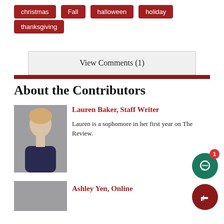christmas
Fall
halloween
holiday
thanksgiving
View Comments (1)
About the Contributors
Lauren Baker, Staff Writer
Lauren is a sophomore in her first year on The Review.
Ashley Yen, Online